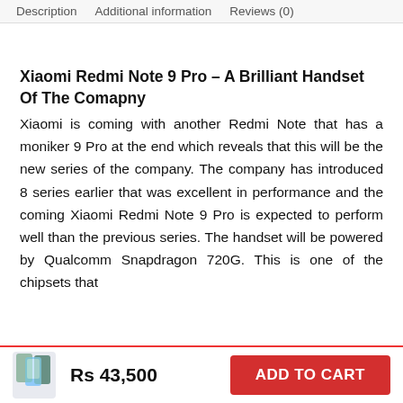Description   Additional information   Reviews (0)
Xiaomi Redmi Note 9 Pro – A Brilliant Handset Of The Comapny
Xiaomi is coming with another Redmi Note that has a moniker 9 Pro at the end which reveals that this will be the new series of the company. The company has introduced 8 series earlier that was excellent in performance and the coming Xiaomi Redmi Note 9 Pro is expected to perform well than the previous series. The handset will be powered by Qualcomm Snapdragon 720G. This is one of the chipsets that
Rs 43,500
ADD TO CART